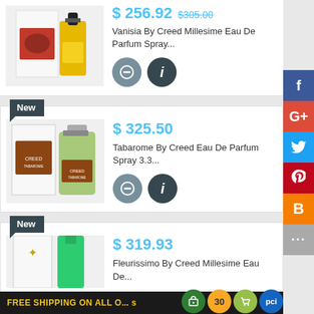[Figure (photo): Vanisia by Creed perfume product with box, white and gold bottle]
$ 256.92  $305.00
Vanisia By Creed Millesime Eau De Parfum Spray...
[Figure (photo): Tabarome by Creed perfume product with brown label and green liquid bottle]
$ 325.50
Tabarome By Creed Eau De Parfum Spray 3.3...
[Figure (photo): Fleurissimo by Creed perfume product, partial view]
$ 319.93
Fleurissimo By Creed Millesime Eau De...
FREE SHIPPING ON ALL O...s